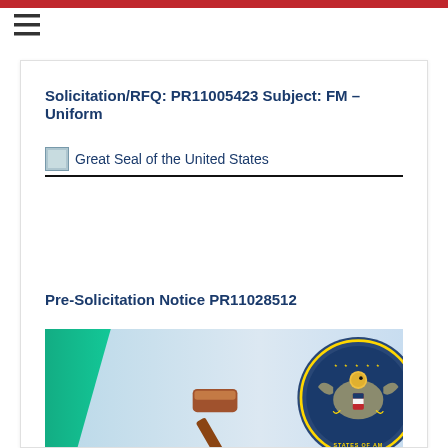Solicitation/RFQ: PR11005423 Subject: FM – Uniform
[Figure (logo): Great Seal of the United States — broken image placeholder with label text]
Pre-Solicitation Notice PR11028512
[Figure (photo): US Embassy promotional image with green accent on left, gavel in center, and United States of America Embassy seal on right against a blue gradient background]